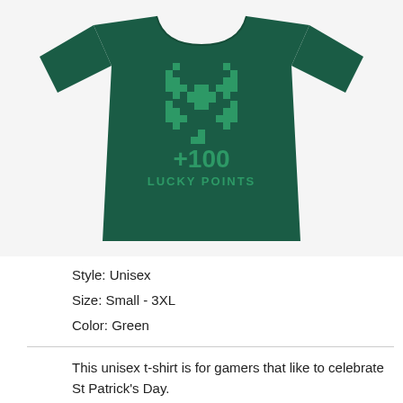[Figure (photo): A dark green unisex t-shirt with a pixelated four-leaf clover graphic and the text '+100 LUCKY POINTS' printed on the front in bright green.]
Style: Unisex
Size: Small - 3XL
Color: Green
This unisex t-shirt is for gamers that like to celebrate St Patrick's Day.